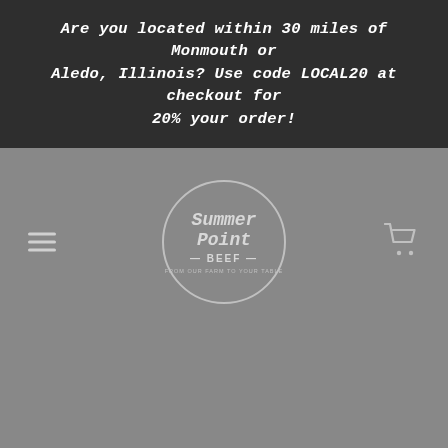Are you located within 30 miles of Monmouth or Aledo, Illinois? Use code LOCAL20 at checkout for 20% your order!
[Figure (logo): Summer Point Beef circular logo with script text and tagline]